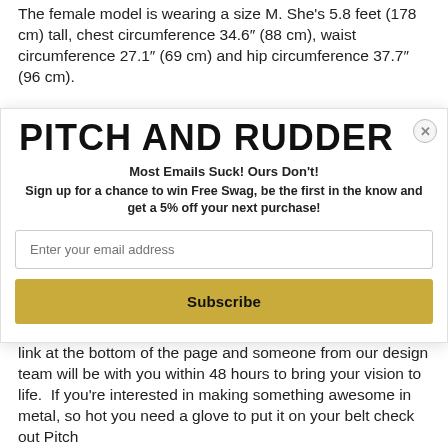The female model is wearing a size M. She's 5.8 feet (178 cm) tall, chest circumference 34.6" (88 cm), waist circumference 27.1" (69 cm) and hip circumference 37.7" (96 cm).
[Figure (screenshot): Email signup modal overlay with brand name PITCH AND RUDDER, headline 'Most Emails Suck! Ours Don't!', subtext about free swag and 5% off, email input field, and Subscribe button. Close button (X) in top right corner.]
or Mess we've streamlined the process, click the get started link at the bottom of the page and someone from our design team will be with you within 48 hours to bring your vision to life.  If you're interested in making something awesome in metal, so hot you need a glove to put it on your belt check out Pitch